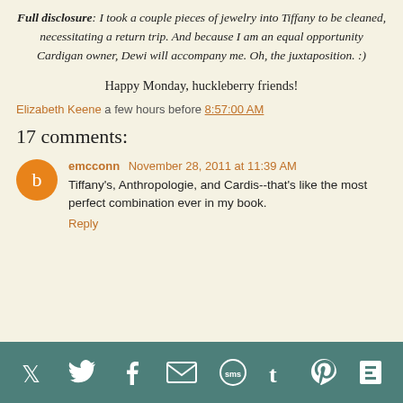Full disclosure: I took a couple pieces of jewelry into Tiffany to be cleaned, necessitating a return trip. And because I am an equal opportunity Cardigan owner, Dewi will accompany me. Oh, the juxtaposition. :)
Happy Monday, huckleberry friends!
Elizabeth Keene a few hours before 8:57:00 AM
17 comments:
emcconn  November 28, 2011 at 11:39 AM
Tiffany's, Anthropologie, and Cardis--that's like the most perfect combination ever in my book.
Reply
[Figure (infographic): Footer bar with social media icons: Twitter, Facebook, Email, SMS, Tumblr, Pinterest, Flipboard on teal background]